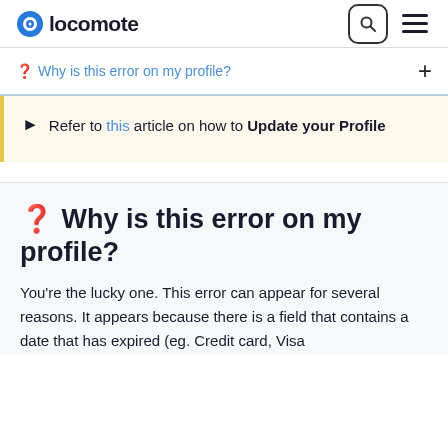locomote
❓ Why is this error on my profile?
Refer to this article on how to Update your Profile
❓ Why is this error on my profile?
You're the lucky one. This error can appear for several reasons. It appears because there is a field that contains a date that has expired (eg. Credit card, Visa